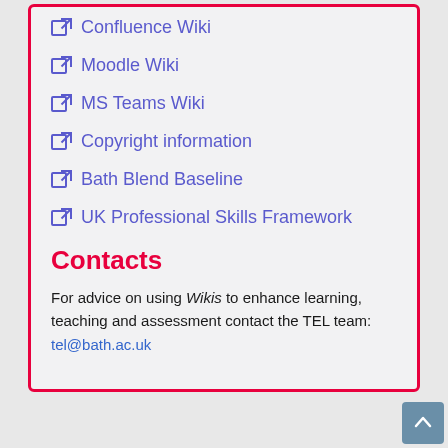Confluence Wiki
Moodle Wiki
MS Teams Wiki
Copyright information
Bath Blend Baseline
UK Professional Skills Framework
Contacts
For advice on using Wikis to enhance learning, teaching and assessment contact the TEL team: tel@bath.ac.uk